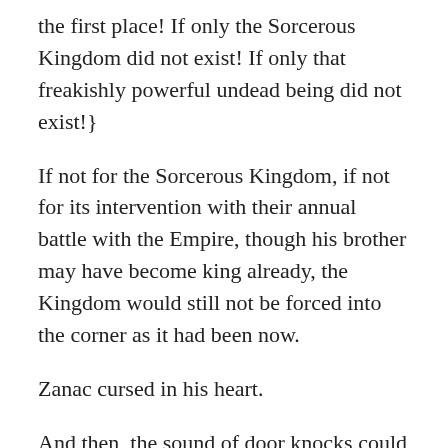the first place! If only the Sorcerous Kingdom did not exist! If only that freakishly powerful undead being did not exist!}
If not for the Sorcerous Kingdom, if not for its intervention with their annual battle with the Empire, though his brother may have become king already, the Kingdom would still not be forced into the corner as it had been now.
Zanac cursed in his heart.
And then, the sound of door knocks could be heard.
Zanac had a premonition.
To interrupt a meeting this important, it must be an emergency. To be honest, the way they were knocking on the door was quite violent too.